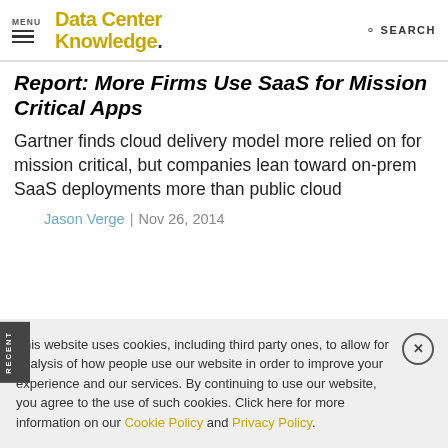MENU | DataCenter Knowledge. | SEARCH
Report: More Firms Use SaaS for Mission Critical Apps
Gartner finds cloud delivery model more relied on for mission critical, but companies lean toward on-prem SaaS deployments more than public cloud
Jason Verge | Nov 26, 2014
This website uses cookies, including third party ones, to allow for analysis of how people use our website in order to improve your experience and our services. By continuing to use our website, you agree to the use of such cookies. Click here for more information on our Cookie Policy and Privacy Policy.